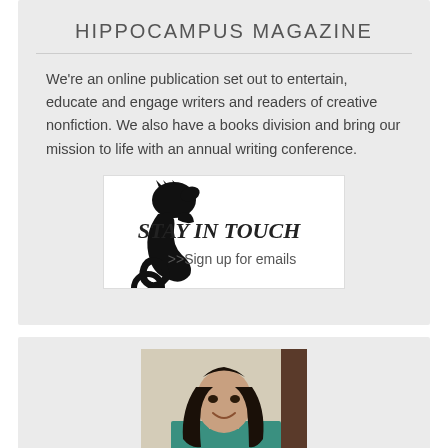HIPPOCAMPUS MAGAZINE
We're an online publication set out to entertain, educate and engage writers and readers of creative nonfiction. We also have a books division and bring our mission to life with an annual writing conference.
[Figure (illustration): Banner image with seahorse silhouette on left, bold text 'STAY IN TOUCH' and '>>Sign up for emails' on right, white background]
[Figure (photo): Portrait photo of a woman with long dark hair, smiling, wearing a teal/green top, with a light background and dark element on the right]